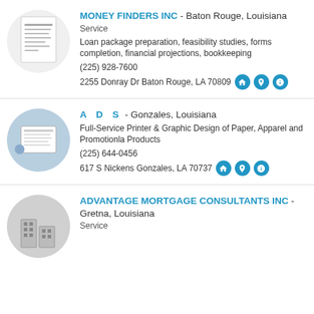MONEY FINDERS INC - Baton Rouge, Louisiana
Service
Loan package preparation, feasibility studies, forms completion, financial projections, bookkeeping
(225) 928-7600
2255 Donray Dr Baton Rouge, LA 70809
A D S - Gonzales, Louisiana
Full-Service Printer & Graphic Design of Paper, Apparel and Promotionla Products
(225) 644-0456
617 S Nickens Gonzales, LA 70737
ADVANTAGE MORTGAGE CONSULTANTS INC - Gretna, Louisiana
Service